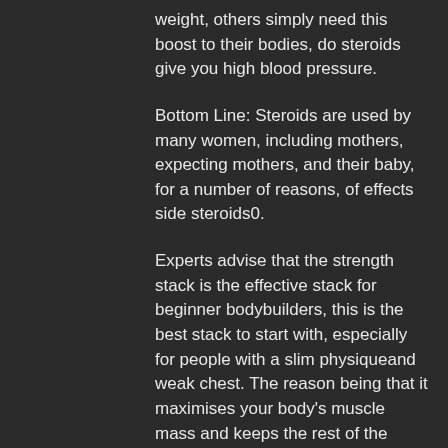weight, others simply need this boost to their bodies, do steroids give you high blood pressure.
Bottom Line: Steroids are used by many women, including mothers, expecting mothers, and their baby, for a number of reasons, of effects side steroids0.
Experts advise that the strength stack is the effective stack for beginner bodybuilders, this is the best stack to start with, especially for people with a slim physiqueand weak chest. The reason being that it maximises your body's muscle mass and keeps the rest of the body from getting overloaded with muscle.
For a novice bodybuilder this stack should come into play at least once a day. But depending on your needs it can be continued